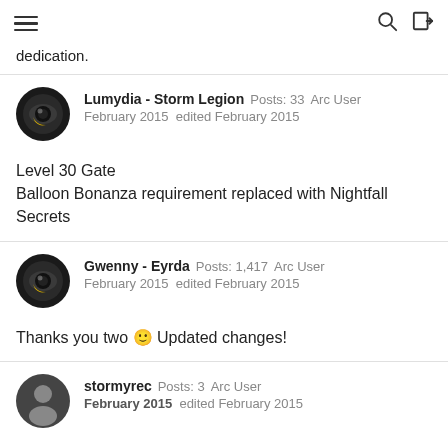[hamburger menu] [search icon] [login icon]
dedication.
Lumydia - Storm Legion  Posts: 33  Arc User
February 2015  edited February 2015
Level 30 Gate
Balloon Bonanza requirement replaced with Nightfall Secrets
Gwenny - Eyrda  Posts: 1,417  Arc User
February 2015  edited February 2015
Thanks you two 🙂 Updated changes!
stormyrec  Posts: 3  Arc User
February 2015  edited February 2015